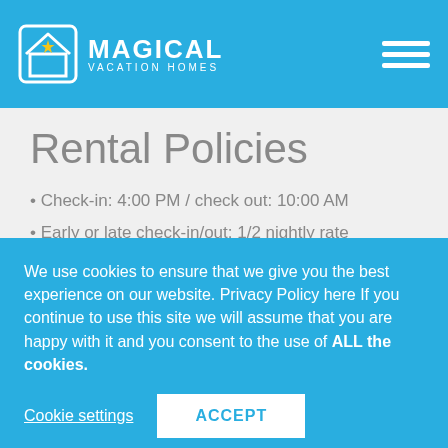MAGICAL VACATION HOMES
Rental Policies
Check-in: 4:00 PM / check out: 10:00 AM
Early or late check-in/out: 1/2 nightly rate
No smoking / No pets
By state law occupancy of property must not be exceeded
20% non-refundable deposit due at time of booking
Final payment due 45 days prior to your arrival
We use cookies to ensure that we give you the best experience on our website. Privacy Policy here If you continue to use this site we will assume that you are happy with it and you consent to the use of ALL the cookies.
Cookie settings  ACCEPT